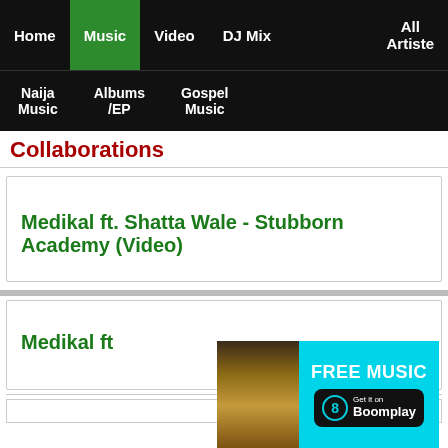Home | Music | Video | DJ Mix | All Artiste
Naija Music | Albums /EP | Gospel Music
Collaborations
Medikal ft. Shatta Wale - Stubborn Academy (Video)
Medikal ft...
[Figure (screenshot): Boomplay advertisement banner with a person's photo, 'FREE MUSIC' text, and 'Get it on Boomplay' button]